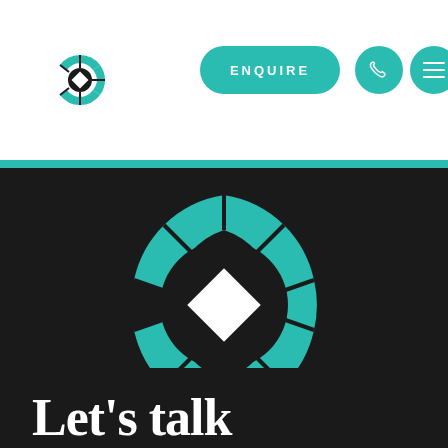[Figure (logo): Small teal C-shaped segmented logo in white header navigation bar]
[Figure (other): Teal pill-shaped ENQUIRE button in header navigation]
[Figure (other): Teal circle phone icon button in header navigation]
[Figure (other): Teal circle hamburger menu button in header navigation]
[Figure (logo): Large teal and black segmented C-shaped logo with white diamond center on dark background]
Let's talk